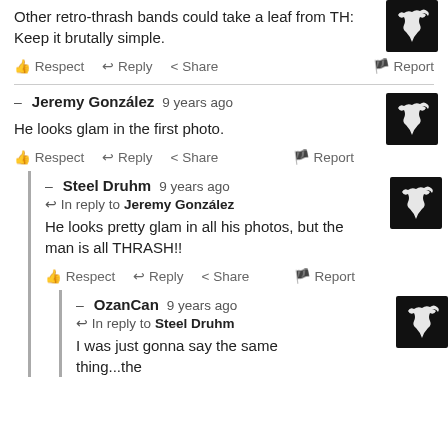Other retro-thrash bands could take a leaf from TH: Keep it brutally simple.
👍 Respect  ↩ Reply  < Share  🏳 Report
– Jeremy González  9 years ago
He looks glam in the first photo.
👍 Respect  ↩ Reply  < Share  🏳 Report
– Steel Druhm  9 years ago
↩ In reply to Jeremy González
He looks pretty glam in all his photos, but the man is all THRASH!!
👍 Respect  ↩ Reply  < Share  🏳 Report
– OzanCan  9 years ago
↩ In reply to Steel Druhm
I was just gonna say the same thing...the